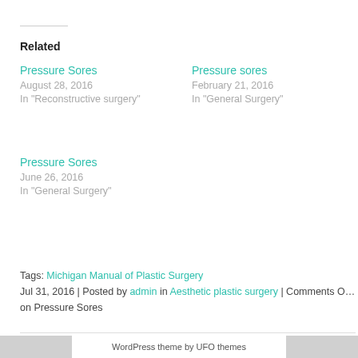Related
Pressure Sores
August 28, 2016
In "Reconstructive surgery"
Pressure sores
February 21, 2016
In "General Surgery"
Pressure Sores
June 26, 2016
In "General Surgery"
Tags: Michigan Manual of Plastic Surgery
Jul 31, 2016 | Posted by admin in Aesthetic plastic surgery | Comments O… on Pressure Sores